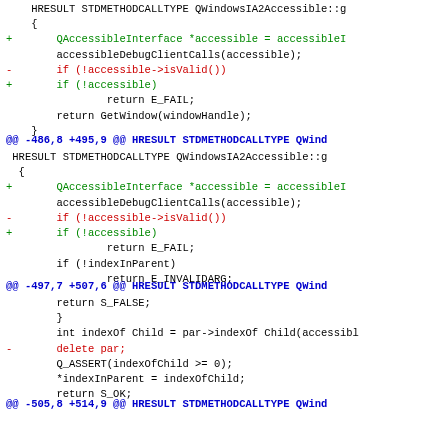HRESULT STDMETHODCALLTYPE QWindowsIA2Accessible::g
    {
+       QAccessibleInterface *accessible = accessibleI
        accessibleDebugClientCalls(accessible);
-       if (!accessible->isValid())
+       if (!accessible)
                return E_FAIL;
        return GetWindow(windowHandle);
    }
@@ -486,8 +495,9 @@ HRESULT STDMETHODCALLTYPE QWind
HRESULT STDMETHODCALLTYPE QWindowsIA2Accessible::g
  {
+       QAccessibleInterface *accessible = accessibleI
        accessibleDebugClientCalls(accessible);
-       if (!accessible->isValid())
+       if (!accessible)
                return E_FAIL;
        if (!indexInParent)
                return E_INVALIDARG;
@@ -497,7 +507,6 @@ HRESULT STDMETHODCALLTYPE QWind
return S_FALSE;
        }
        int indexOf Child = par->indexOfChild(accessibl
-       delete par;
        Q_ASSERT(indexOfChild >= 0);
        *indexInParent = indexOfChild;
        return S_OK;
@@ -505,8 +514,9 @@ HRESULT STDMETHODCALLTYPE QWind